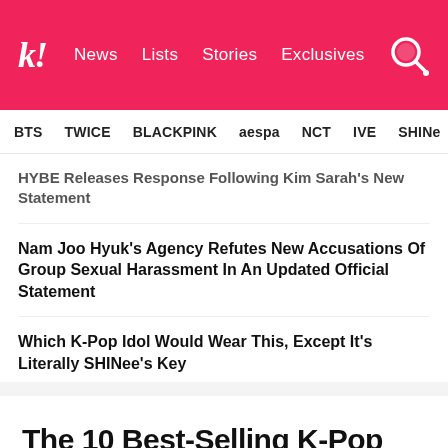k! News   Lists   Stories   Exclusives
BTS   TWICE   BLACKPINK   aespa   NCT   IVE   SHINe
HYBE Releases Response Following Kim Sarah's New Statement
Nam Joo Hyuk's Agency Refutes New Accusations Of Group Sexual Harassment In An Updated Official Statement
Which K-Pop Idol Would Wear This, Except It's Literally SHINee's Key
Jun Debuts A New Hairstyle At SEVENTEEN's Toronto Concert And Fans Are Living For It
NEXT ARTICLE
The 10 Best-Selling K-Pop Artists Dominating Gaon Each